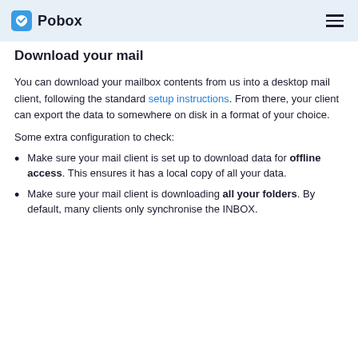Pobox
Download your mail
You can download your mailbox contents from us into a desktop mail client, following the standard setup instructions. From there, your client can export the data to somewhere on disk in a format of your choice.
Some extra configuration to check:
Make sure your mail client is set up to download data for offline access. This ensures it has a local copy of all your data.
Make sure your mail client is downloading all your folders. By default, many clients only synchronise the INBOX.